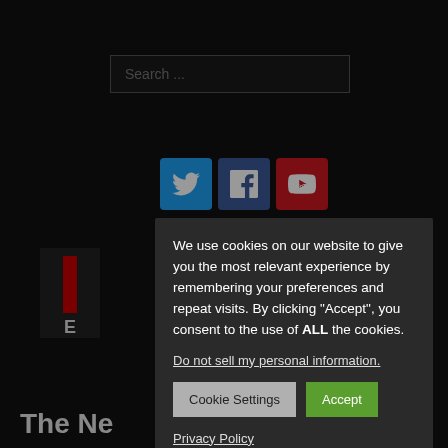[Figure (screenshot): Search input box with placeholder text 'Search ...' on dark background]
[Figure (infographic): Three social media icon buttons: Twitter (blue), Facebook (blue), YouTube (red)]
We use cookies on our website to give you the most relevant experience by remembering your preferences and repeat visits. By clicking “Accept”, you consent to the use of ALL the cookies.
Do not sell my personal information.
Cookie Settings
Accept
Privacy Policy
The Ne